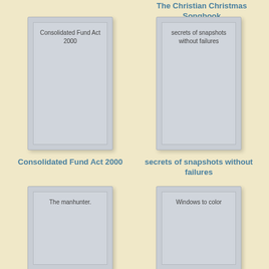The Christian Christmas Songbook
[Figure (illustration): Book cover placeholder for Consolidated Fund Act 2000]
[Figure (illustration): Book cover placeholder for secrets of snapshots without failures]
Consolidated Fund Act 2000
secrets of snapshots without failures
[Figure (illustration): Book cover placeholder for The manhunter.]
[Figure (illustration): Book cover placeholder for Windows to color]
The manhunter.
Windows to color